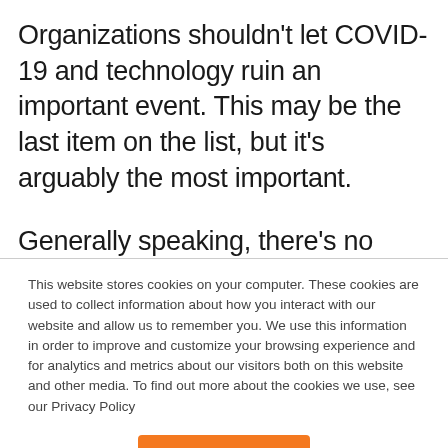Organizations shouldn't let COVID-19 and technology ruin an important event. This may be the last item on the list, but it's arguably the most important.
Generally speaking, there's no denying the benefits of an in-person event. However, it's important to adapt to the
This website stores cookies on your computer. These cookies are used to collect information about how you interact with our website and allow us to remember you. We use this information in order to improve and customize your browsing experience and for analytics and metrics about our visitors both on this website and other media. To find out more about the cookies we use, see our Privacy Policy
Accept All